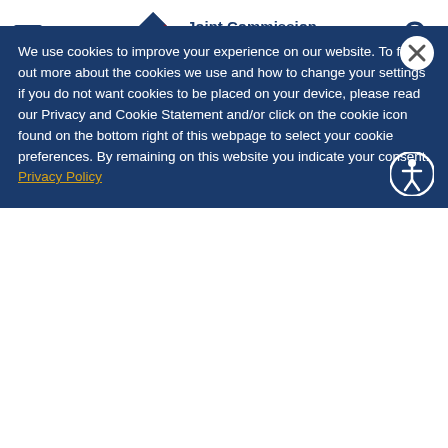[Figure (logo): Joint Commission Resources logo with geometric diamond shapes in navy and maroon, and bold navy text reading 'Joint Commission Resources']
Search this site.
(OAK BROOK, Illinois, July 15, 2021)
We use cookies to improve your experience on our website. To find out more about the cookies we use and how to change your settings if you do not want cookies to be placed on your device, please read our Privacy and Cookie Statement and/or click on the cookie icon found on the bottom right of this webpage to select your cookie preferences. By remaining on this website you indicate your consent. Privacy Policy